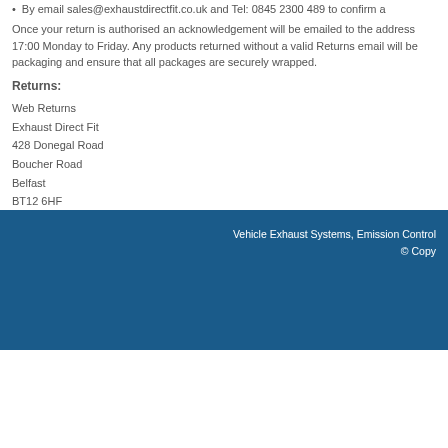By email sales@exhaustdirectfit.co.uk and Tel: 0845 2300 489 to confirm a
Once your return is authorised an acknowledgement will be emailed to the address 17:00 Monday to Friday. Any products returned without a valid Returns email will be packaging and ensure that all packages are securely wrapped.
Returns:
Web Returns
Exhaust Direct Fit
428 Donegal Road
Boucher Road
Belfast
BT12 6HF
The customer is responsible for all postage costs for products returned under our R agreed and confirmed in advance with the Customer Services Department.
Exhaust Direct Fit  will not accept responsibility for loss or damage of goods during is taken where possible.
All returns must be received within 7 days of receiving a Returns Authorisation ema
Upon receipt, all products will be inspected and at our discretion, credit may be ref
Vehicle Exhaust Systems, Emission Control
© Copy